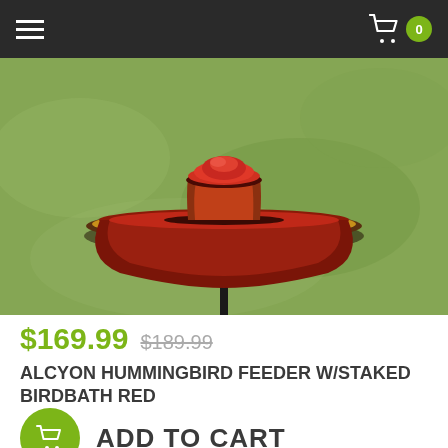Navigation bar with hamburger menu and cart icon showing 0 items
[Figure (photo): A red hummingbird feeder with staked birdbath on a green grass background. The feeder is a wide shallow red ceramic bowl on a black metal stake, with a round red dome in the center.]
$169.99  $189.99
ALCYON HUMMINGBIRD FEEDER W/STAKED BIRDBATH RED
ADD TO CART